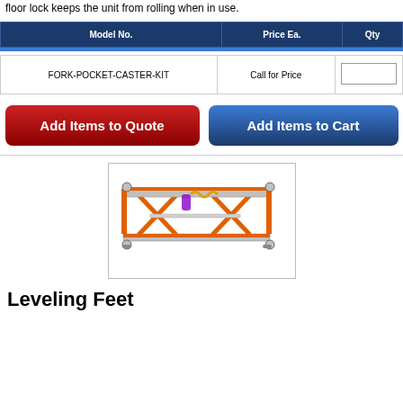floor lock keeps the unit from rolling when in use.
| Model No. | Price Ea. | Qty |
| --- | --- | --- |
| FORK-POCKET-CASTER-KIT | Call for Price |  |
Add Items to Quote
Add Items to Cart
[Figure (illustration): Orange scissor lift table with leveling feet, viewed from an angle, showing the scissor mechanism and stabilizing feet at corners.]
Leveling Feet